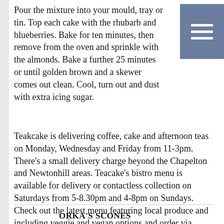Pour the mixture into your mould, tray or tin. Top each cake with the rhubarb and blueberries. Bake for ten minutes, then remove from the oven and sprinkle with the almonds. Bake a further 25 minutes or until golden brown and a skewer comes out clean. Cool, turn out and dust with extra icing sugar.
Teakcake is delivering coffee, cake and afternoon teas on Monday, Wednesday and Friday from 11-3pm. There's a small delivery charge beyond the Chapelton and Newtonhill areas. Teacake's bistro menu is available for delivery or contactless collection on Saturdays from 5-8.30pm and 4-8pm on Sundays. Check out the latest menu featuring local produce and including veggie and vegan options and order via teacakebistro@gmail.com or teacake.chapelton
ORKA'S SCONES